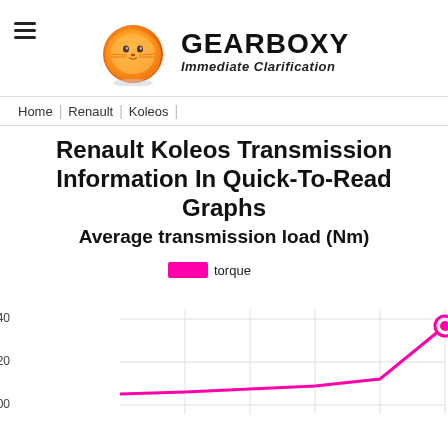[Figure (logo): Gearboxy logo: orange cat ball with brand name GEARBOXY and tagline Immediate Clarification]
Home | Renault | Koleos
Renault Koleos Transmission Information In Quick-To-Read Graphs
Average transmission load (Nm)
[Figure (line-chart): Line chart showing torque (Nm) values, y-axis showing 300-340 range, line trending upward toward right with last point around 335 Nm]